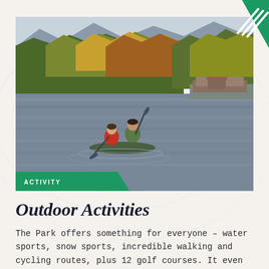[Figure (photo): Two people paddling a green canoe on a large loch/lake with autumn-coloured forest and mountains in the background. A lodge or building is visible on the far shore. Both paddlers are wearing life jackets (red and green). The word 'ACTIVITY' appears in a green banner at the bottom-left of the photo.]
Outdoor Activities
The Park offers something for everyone – water sports, snow sports, incredible walking and cycling routes, plus 12 golf courses. It even has the first permanent bridge-based